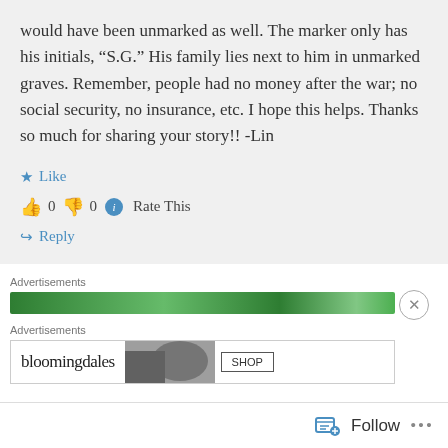would have been unmarked as well. The marker only has his initials, “S.G.” His family lies next to him in unmarked graves. Remember, people had no money after the war; no social security, no insurance, etc. I hope this helps. Thanks so much for sharing your story!! -Lin
Like
0  0  Rate This
Reply
Advertisements
[Figure (screenshot): Green advertisement banner]
Advertisements
[Figure (screenshot): Bloomingdale's advertisement with shop button]
Follow